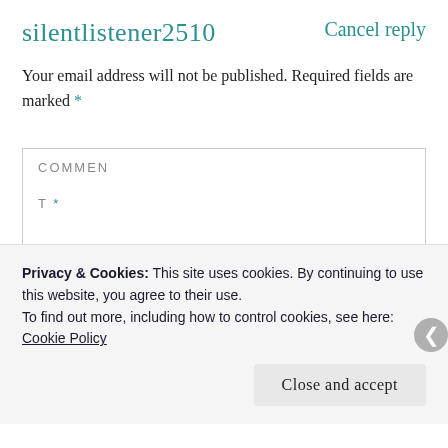silentlistener2510
Cancel reply
Your email address will not be published. Required fields are marked *
COMMENT *
Privacy & Cookies: This site uses cookies. By continuing to use this website, you agree to their use.
To find out more, including how to control cookies, see here: Cookie Policy
Close and accept